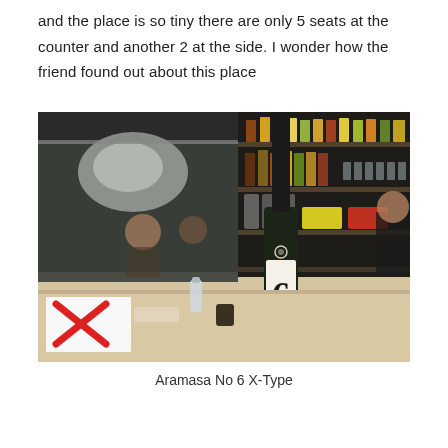and the place is so tiny there are only 5 seats at the counter and another 2 at the side. I wonder how the friend found out about this place
[Figure (photo): Interior of a small Japanese restaurant/bar. Foreground shows a counter with a dark green sake bottle labeled '6' (Aramasa No 6), a white paper with a red X mark, and a small sanitizer bottle. Behind a glass partition, diners are reflected. In the background are shelves stocked with various bottles and condiments, and a worker is visible on the right.]
Aramasa No 6 X-Type